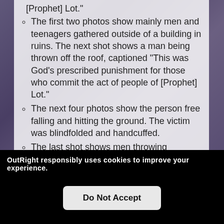[Prophet] Lot."
The first two photos show mainly men and teenagers gathered outside of a building in ruins. The next shot shows a man being thrown off the roof, captioned "This was God's prescribed punishment for those who commit the act of people of [Prophet] Lot."
The next four photos show the person free falling and hitting the ground. The victim was blindfolded and handcuffed.
The last shot shows men throwing
OutRight responsibly uses cookies to improve your experience.
Do Not Accept